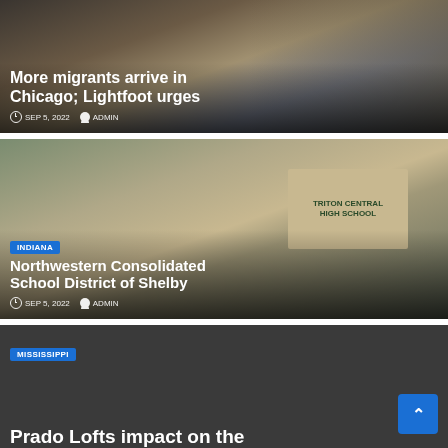[Figure (photo): News card with photo of migrants/people in background]
More migrants arrive in Chicago; Lightfoot urges
SEP 5, 2022  ADMIN
[Figure (photo): Photo of Triton Central High School building exterior]
INDIANA
Northwestern Consolidated School District of Shelby
SEP 5, 2022  ADMIN
[Figure (photo): Dark background card for Mississippi news]
MISSISSIPPI
Prado Lofts impact on the